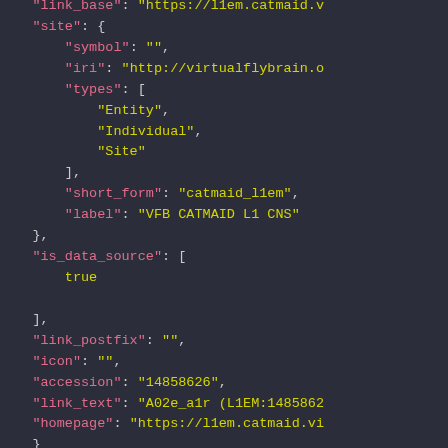JSON code snippet showing link_base, site (with symbol, iri, types, short_form, label), is_data_source, link_postfix, icon, accession, link_text, homepage fields